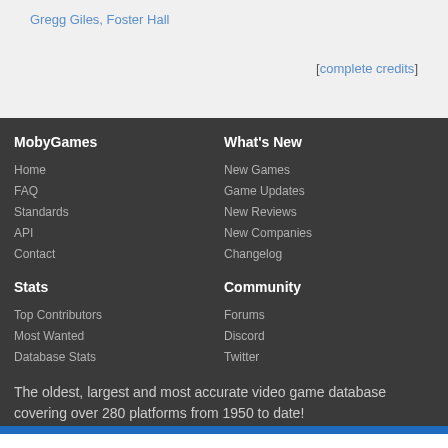Gregg Giles, Foster Hall
[complete credits]
MobyGames
Home
FAQ
Standards
API
Contact
What's New
New Games
Game Updates
New Reviews
New Companies
Changelog
Stats
Top Contributors
Most Wanted
Database Stats
Community
Forums
Discord
Twitter
The oldest, largest and most accurate video game database covering over 280 platforms from 1950 to date!